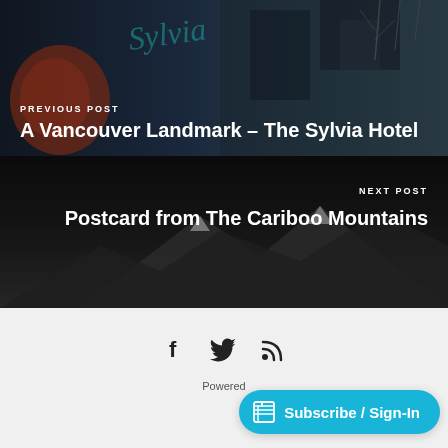[Figure (photo): Previous post banner with photo of The Sylvia Hotel building signage, dark overlay]
PREVIOUS POST
A Vancouver Landmark – The Sylvia Hotel
[Figure (photo): Next post banner with dark grayscale mountain landscape photo]
NEXT POST
Postcard from The Cariboo Mountains
[Figure (other): Social media icons: Facebook (f), Twitter (bird), RSS feed]
Powered
Subscribe / Sign-In